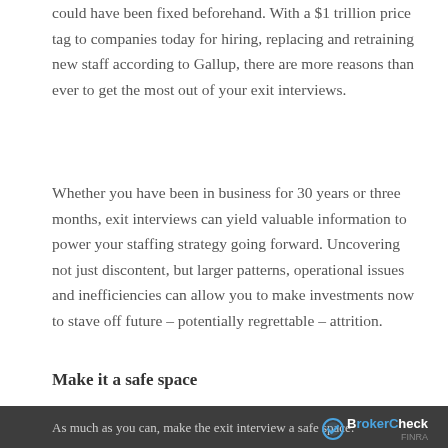could have been fixed beforehand. With a $1 trillion price tag to companies today for hiring, replacing and retraining new staff according to Gallup, there are more reasons than ever to get the most out of your exit interviews.
Whether you have been in business for 30 years or three months, exit interviews can yield valuable information to power your staffing strategy going forward. Uncovering not just discontent, but larger patterns, operational issues and inefficiencies can allow you to make investments now to stave off future – potentially regrettable – attrition.
Make it a safe space
As much as you can, make the exit interview a safe space.